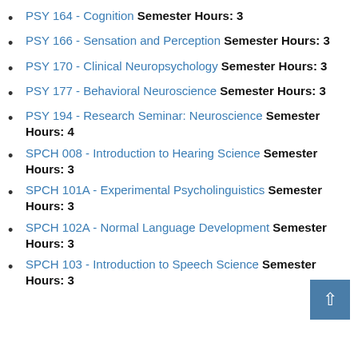PSY 164 - Cognition Semester Hours: 3
PSY 166 - Sensation and Perception Semester Hours: 3
PSY 170 - Clinical Neuropsychology Semester Hours: 3
PSY 177 - Behavioral Neuroscience Semester Hours: 3
PSY 194 - Research Seminar: Neuroscience Semester Hours: 4
SPCH 008 - Introduction to Hearing Science Semester Hours: 3
SPCH 101A - Experimental Psycholinguistics Semester Hours: 3
SPCH 102A - Normal Language Development Semester Hours: 3
SPCH 103 - Introduction to Speech Science Semester Hours: 3